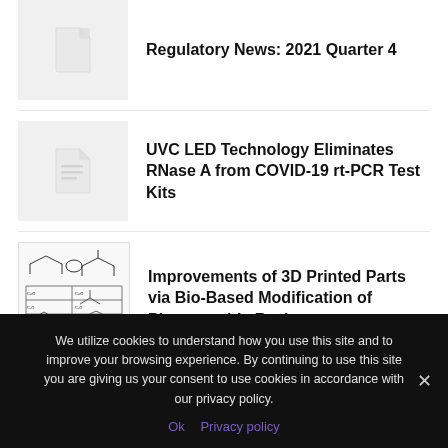[Figure (illustration): Document thumbnail placeholder icon for Regulatory News article]
Regulatory News: 2021 Quarter 4
[Figure (illustration): Document thumbnail placeholder icon for UVC LED Technology article]
UVC LED Technology Eliminates RNase A from COVID-19 rt-PCR Test Kits
[Figure (chemistry-diagram): Chemical structure diagram showing molecular structures for 3D printed photocurable resins]
Improvements of 3D Printed Parts via Bio-Based Modification of Photocurable Resins
We utilize cookies to understand how you use this site and to improve your browsing experience. By continuing to use this site you are giving us your consent to use cookies in accordance with our privacy policy.
Ok   Privacy policy